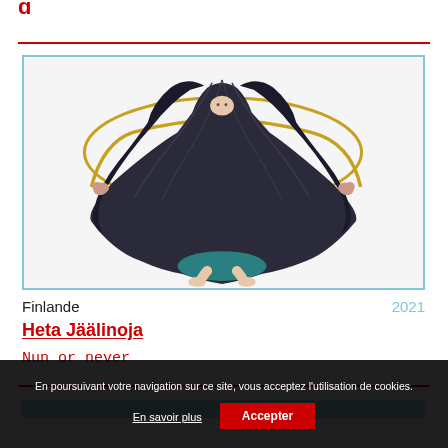g
[Figure (illustration): Illustration of a figure with long dark hair wearing a dark robe, jumping rope with a golden/yellow rope, legs bent at knees, against a white background with a light blue border frame.]
Finlande  2021
Heta Jäälinoja
Nun or never
En poursuivant votre navigation sur ce site, vous acceptez l'utilisation de cookies.
En savoir plus
Accepter